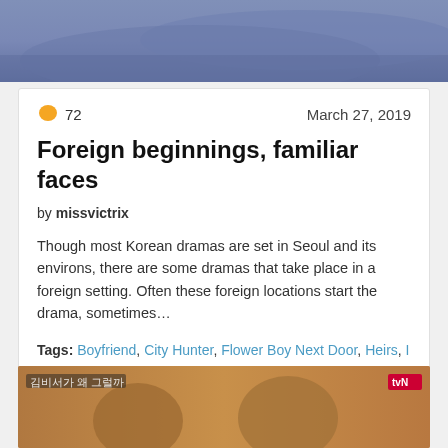[Figure (photo): Top portion of a Korean drama still showing a person in a gray shirt with arm raised, blurred background]
72   March 27, 2019
Foreign beginnings, familiar faces
by missvictrix
Though most Korean dramas are set in Seoul and its environs, there are some dramas that take place in a foreign setting. Often these foreign locations start the drama, sometimes...
Tags: Boyfriend, City Hunter, Flower Boy Next Door, Heirs, I Remember You, I'm Sorry I Love You, Memories of the Alhambra, Shopping King Louis
[Figure (photo): Bottom portion showing Korean drama still with Korean text and tvN logo, two women visible]